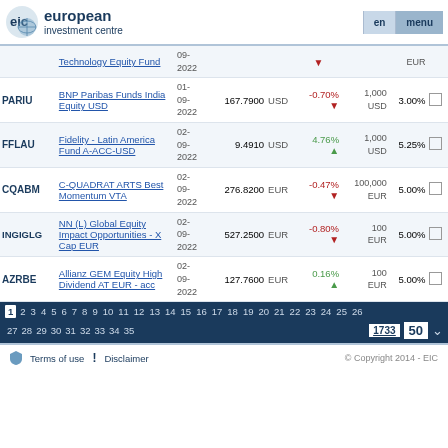[Figure (logo): European Investment Centre logo with 'eic' text and globe graphic]
european investment centre | en | menu
| Ticker | Fund Name | Date | Price | Currency | Change | Min Inv | Fee |  |
| --- | --- | --- | --- | --- | --- | --- | --- | --- |
|  | Technology Equity Fund | 09-2022 |  |  |  |  | EUR |  |
| PARIU | BNP Paribas Funds India Equity USD | 01-09-2022 | 167.7900 | USD | -0.70% ▼ | 1,000 USD | 3.00% |  |
| FFLAU | Fidelity - Latin America Fund A-ACC-USD | 02-09-2022 | 9.4910 | USD | 4.76% ▲ | 1,000 USD | 5.25% |  |
| CQABM | C-QUADRAT ARTS Best Momentum VTA | 02-09-2022 | 276.8200 | EUR | -0.47% ▼ | 100,000 EUR | 5.00% |  |
| INGIGLG | NN (L) Global Equity Impact Opportunities - X Cap EUR | 02-09-2022 | 527.2500 | EUR | -0.80% ▼ | 100 EUR | 5.00% |  |
| AZRBE | Allianz GEM Equity High Dividend AT EUR - acc | 02-09-2022 | 127.7600 | EUR | 0.16% ▲ | 100 EUR | 5.00% |  |
1 2 3 4 5 6 7 8 9 10 11 12 13 14 15 16 17 18 19 20 21 22 23 24 25 26 27 28 29 30 31 32 33 34 35 | 1733 | 50
Terms of use | Disclaimer | © Copyright 2014 - EIC